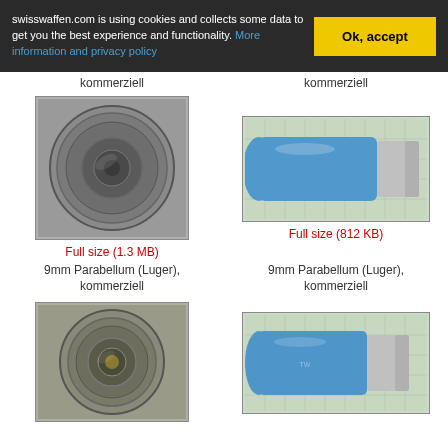swisswaffen.com is using cookies and collects some data to get you the best experience and functionality. More information and privacy policy  Ok, accept
kommerziell
kommerziell
[Figure (photo): 9mm Parabellum cartridge base/head view showing primer and rim, circular silver/grey metallic]
Full size (1.3 MB)
9mm Parabellum (Luger), kommerziell
[Figure (photo): 9mm Parabellum cartridge side view, blue plastic/polymer body with silver metallic base, on grid background]
Full size (812 KB)
9mm Parabellum (Luger), kommerziell
[Figure (photo): 9mm Parabellum cartridge base/head view showing primer and rim, circular silver/grey metallic, slightly different variant]
[Figure (photo): 9mm Parabellum cartridge side view, blue body with silver base on grid background, slightly shorter/different variant]